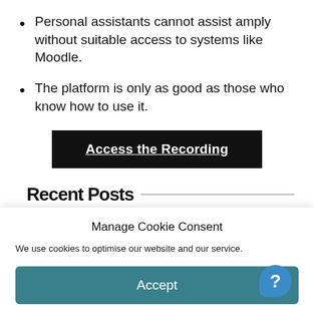Personal assistants cannot assist amply without suitable access to systems like Moodle.
The platform is only as good as those who know how to use it.
[Figure (screenshot): Black button with white bold underlined text reading 'Access the Recording']
Recent Posts
Manage Cookie Consent
We use cookies to optimise our website and our service.
[Figure (screenshot): Teal Accept button for cookie consent]